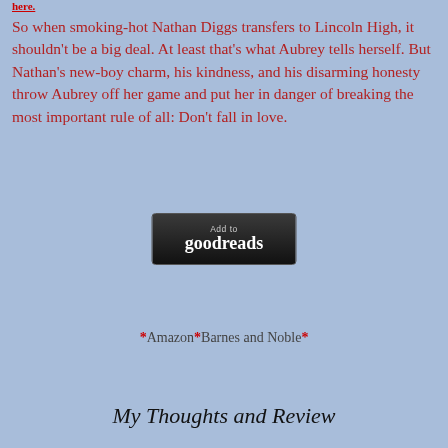here.
So when smoking-hot Nathan Diggs transfers to Lincoln High, it shouldn't be a big deal. At least that's what Aubrey tells herself. But Nathan's new-boy charm, his kindness, and his disarming honesty throw Aubrey off her game and put her in danger of breaking the most important rule of all: Don't fall in love.
[Figure (logo): Add to Goodreads button — dark rounded rectangle with 'Add to' in small text and 'goodreads' in large white bold text]
*Amazon*Barnes and Noble*
My Thoughts and Review